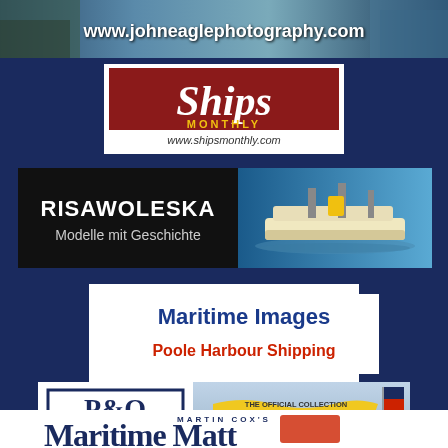[Figure (photo): Mountain/ocean landscape banner with text www.johneaglephotography.com]
[Figure (logo): Ships Monthly magazine logo on red background with website www.shipsmonthly.com]
[Figure (logo): Risawoleska - Modelle mit Geschichte banner with ship model image on blue background]
[Figure (logo): Maritime Images / Poole Harbour Shipping white box advertisement]
[Figure (logo): P&O Heritage official collection advertisement]
[Figure (logo): Martin Cox's Maritime Matt partial banner at bottom]